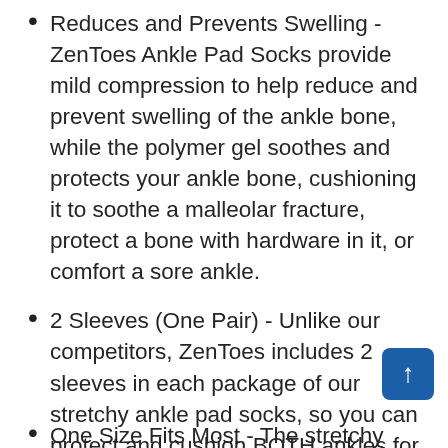Reduces and Prevents Swelling - ZenToes Ankle Pad Socks provide mild compression to help reduce and prevent swelling of the ankle bone, while the polymer gel soothes and protects your ankle bone, cushioning it to soothe a malleolar fracture, protect a bone with hardware in it, or comfort a sore ankle.
2 Sleeves (One Pair) - Unlike our competitors, ZenToes includes 2 sleeves in each package of our stretchy ankle pad socks, so you can protect and cushion BOTH ankles for about the same price of just one sleeve sold by other companies. Whether your passion is ice skating, hockey, hiking, or skiing, you will find our ankle pad sleeves to be comfortable and easy to use.
One Size Fits Most - The stretchy material of